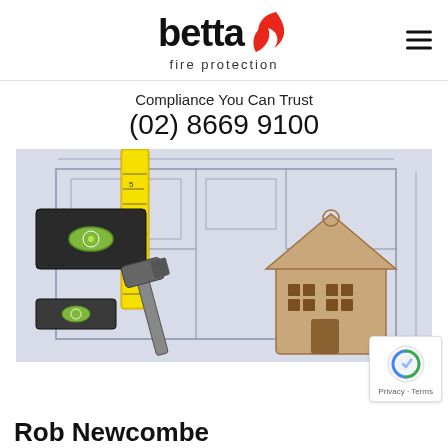[Figure (logo): Betta Fire Protection logo with flame icon in red, bold black text 'betta' and subtitle 'fire protection']
Compliance You Can Trust
(02) 8669 9100
[Figure (photo): Overhead photo of architectural blueprints with construction tools: level, tape measure, hammer, and a wooden house keychain/ornament]
Rob Newcombe